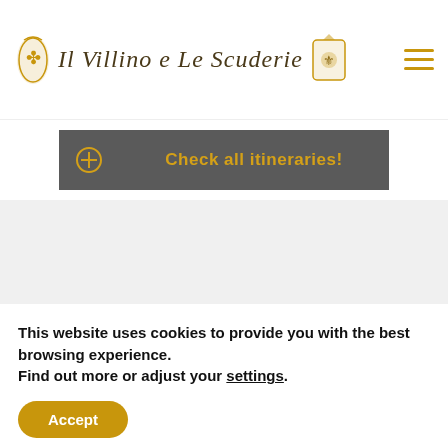Il Villino e Le Scuderie
Check all itineraries!
Guestbook
[Figure (photo): Panoramic photo strip showing a green tree on the left and blue sky with clouds on the right, taken at the property.]
This website uses cookies to provide you with the best browsing experience.
Find out more or adjust your settings.
Accept